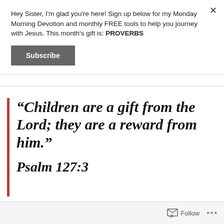Hey Sister, I'm glad you're here! Sign up below for my Monday Morning Devotion and monthly FREE tools to help you journey with Jesus. This month's gift is: PROVERBS
Subscribe
“Children are a gift from the Lord; they are a reward from him.”
Psalm 127:3
Follow ...